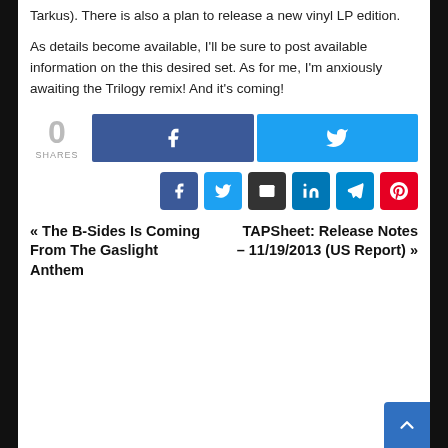Tarkus).  There is also a plan to release a new vinyl LP edition.
As details become available, I'll be sure to post available information on the this desired set.  As for me, I'm anxiously awaiting the Trilogy remix!  And it's coming!
[Figure (infographic): Share count showing 0 SHARES, with Facebook and Twitter share buttons]
[Figure (infographic): Row of social share icon buttons: Facebook, Twitter, Email, LinkedIn, Telegram, Pinterest]
« The B-Sides Is Coming From The Gaslight Anthem    TAPSheet: Release Notes – 11/19/2013 (US Report) »